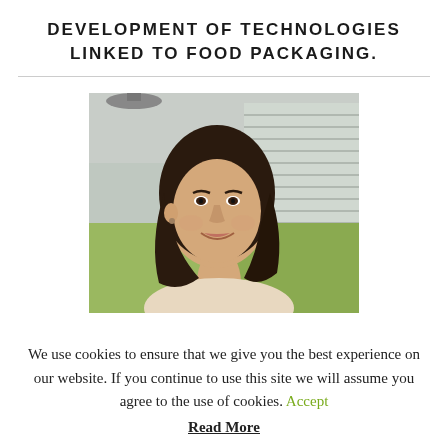DEVELOPMENT OF TECHNOLOGIES LINKED TO FOOD PACKAGING.
[Figure (photo): Portrait photo of a smiling woman with dark shoulder-length hair, wearing a light-colored top, seated in what appears to be an office or workspace with a yellow-green partition and venetian blinds visible in the background.]
We use cookies to ensure that we give you the best experience on our website. If you continue to use this site we will assume you agree to the use of cookies. Accept Read More